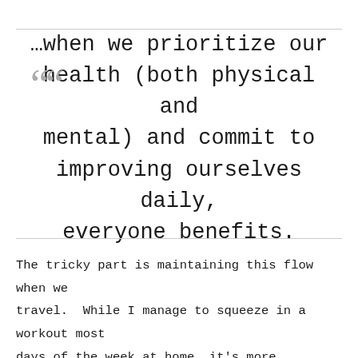…when we prioritize our health (both physical and mental) and commit to improving ourselves daily, everyone benefits.
The tricky part is maintaining this flow when we travel.  While I manage to squeeze in a workout most days of the week at home, it's more difficult when